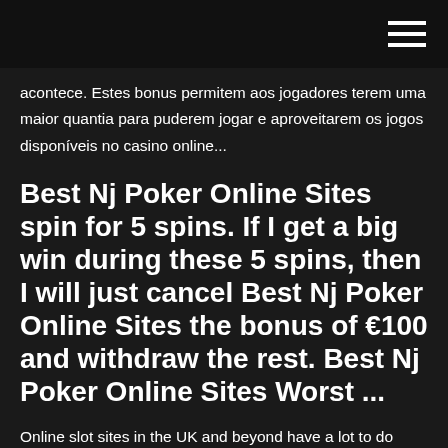acontece. Estes bonus permitem aos jogadores terem uma maior quantia para puderem jogar e aproveitarem os jogos disponíveis no casino online...
Best Nj Poker Online Sites spin for 5 spins. If I get a big win during these 5 spins, then I will just cancel Best Nj Poker Online Sites the bonus of €100 and withdraw the rest. Best Nj Poker Online Sites Worst ...
Online slot sites in the UK and beyond have a lot to do when it comes to impressing customers and making them